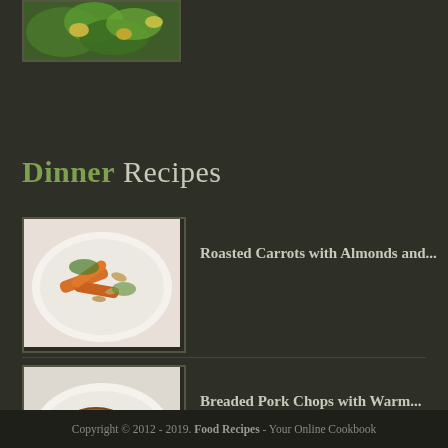[Figure (photo): Partial food photo visible at top of page, appears to be a salad with green vegetables and yellow items]
Dinner Recipes
[Figure (photo): Roasted Carrots with Almonds dish on a white plate]
Roasted Carrots with Almonds and...
[Figure (photo): Breaded Pork Chops with Warm dish on a white plate]
Breaded Pork Chops with Warm...
[Figure (photo): Pumpkin Soup with Chili Cran-Apple, two bowls of orange soup on purple surface]
Pumpkin Soup with Chili Cran-Apple...
Copyright © 2012 - 2019. Food Recipes - Your Online Cookbook